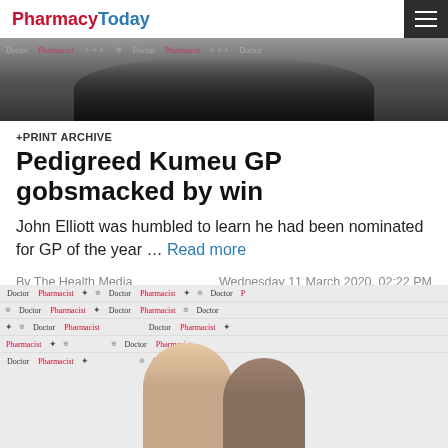PharmacyToday
[Figure (photo): Photo of two people at an awards event step-and-repeat backdrop (top portion showing background)]
+PRINT ARCHIVE
Pedigreed Kumeu GP gobsmacked by win
John Elliott was humbled to learn he had been nominated for GP of the year … Read more
By The Health Media    Wednesday 11 March 2020, 02:22 PM
2 minutes to Read
[Figure (photo): Photo of two people (a blonde woman and a man) posing in front of an awards event step-and-repeat backdrop with Doctor, Pharmacist and other logos]